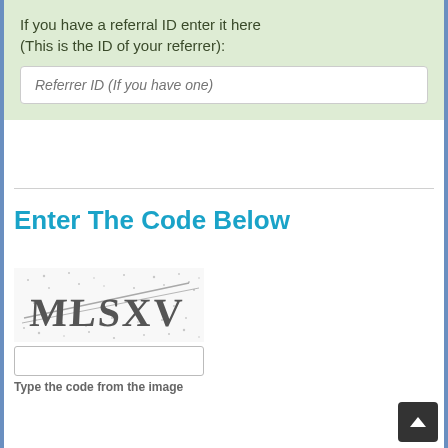If you have a referral ID enter it here (This is the ID of your referrer):
Referrer ID (If you have one)
Enter The Code Below
[Figure (other): CAPTCHA image showing distorted text 'MLSXV' with noise and strikethrough lines]
Type the code from the image